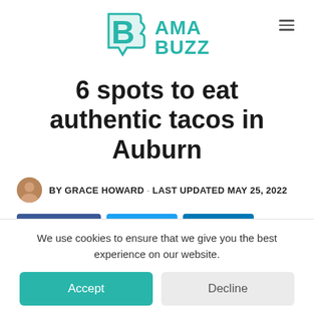Bama Buzz
6 spots to eat authentic tacos in Auburn
BY GRACE HOWARD · LAST UPDATED MAY 25, 2022
[Figure (other): Social share buttons: Facebook (268), Twitter, LinkedIn, and share count 262]
We use cookies to ensure that we give you the best experience on our website.
Accept | Decline